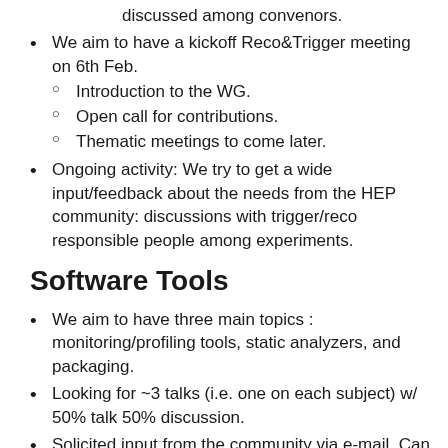discussed among convenors.
We aim to have a kickoff Reco&Trigger meeting on 6th Feb.
  - Introduction to the WG.
  - Open call for contributions.
  - Thematic meetings to come later.
Ongoing activity: We try to get a wide input/feedback about the needs from the HEP community: discussions with trigger/reco responsible people among experiments.
Software Tools
We aim to have three main topics : monitoring/profiling tools, static analyzers, and packaging.
Looking for ~3 talks (i.e. one on each subject) w/ 50% talk 50% discussion.
Solicited input from the community via e-mail. Can possibly accommodate a few lightning talks if there